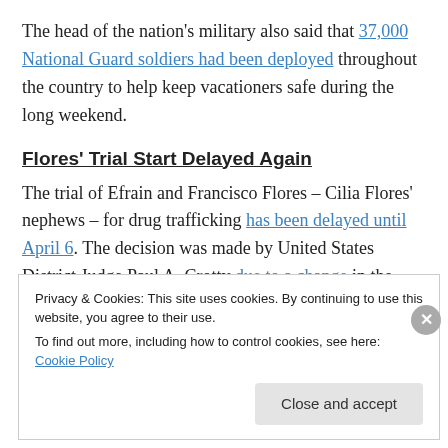The head of the nation's military also said that 37,000 National Guard soldiers had been deployed throughout the country to help keep vacationers safe during the long weekend.
Flores' Trial Start Delayed Again
The trial of Efrain and Francisco Flores – Cilia Flores' nephews – for drug trafficking has been delayed until April 6. The decision was made by United States District Judge Paul A. Crotty due to a change in the Court's calendar.
Privacy & Cookies: This site uses cookies. By continuing to use this website, you agree to their use. To find out more, including how to control cookies, see here: Cookie Policy